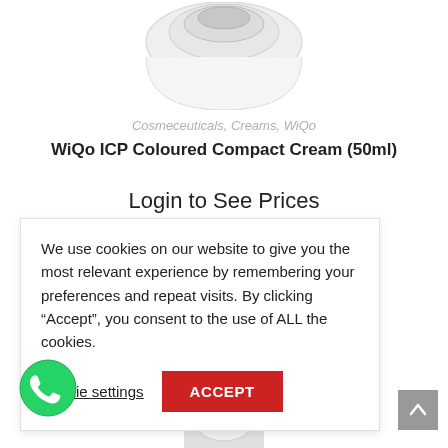[Figure (photo): Partial view of a white cosmetic cream jar/container at the top of the page]
Cosmeceuticals, Creams, WiQo
WiQo ICP Coloured Compact Cream (50ml)
Login to See Prices
We use cookies on our website to give you the most relevant experience by remembering your preferences and repeat visits. By clicking “Accept”, you consent to the use of ALL the cookies.
Cookie settings  ACCEPT
[Figure (logo): WhatsApp green circular icon at bottom left]
[Figure (photo): Partial product thumbnail at the very bottom center]
Scroll to top button (grey arrow up)